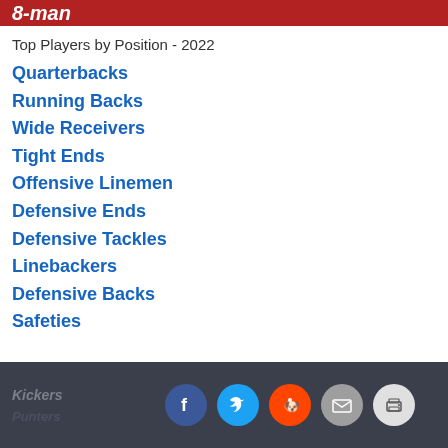8-man
Top Players by Position - 2022
Quarterbacks
Running Backs
Wide Receivers
Tight Ends
Offensive Linemen
Defensive Ends
Defensive Tackles
Linebackers
Defensive Backs
Safeties
Kickers | Punters | Social share icons (Facebook, Twitter, Reddit, Email, Print)